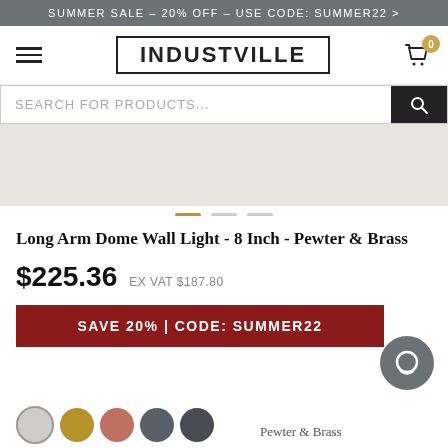SUMMER SALE – 20% OFF – USE CODE: SUMMER22 >
[Figure (logo): Industville logo with hamburger menu and cart icon showing 0 items]
SEARCH FOR PRODUCTS...
[Figure (photo): Product image area placeholder (light grey background)]
Long Arm Dome Wall Light - 8 Inch - Pewter & Brass
$225.36  EX VAT $187.80
SAVE 20% | CODE: SUMMER22
Pewter & Brass